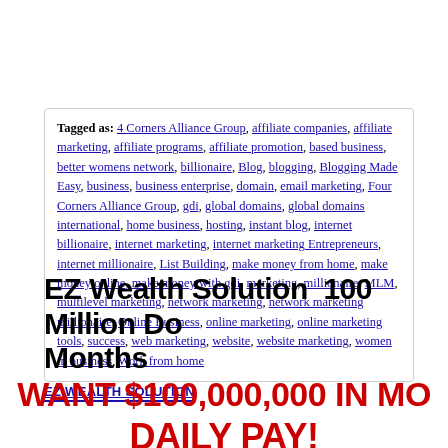Tagged as: 4 Corners Alliance Group, affiliate companies, affiliate marketing, affiliate programs, affiliate promotion, based business, better womens network, billionaire, Blog, blogging, Blogging Made Easy, business, business enterprise, domain, email marketing, Four Corners Alliance Group, gdi, global domains, global domains international, home business, hosting, instant blog, internet billionaire, internet marketing, internet marketing Entrepreneurs, internet millionaire, List Building, make money from home, make money online, make money with gdi, marketing, millionaire, MLM, multilevel marketing, network marketing, network marketing millionaire, Online Business, online marketing, online marketing tools, success, web marketing, website, website marketing, women in business, Work from home
EZ Wealth Solution 100 Million Do... Months
EZ WEALTH SOLUTION
WANT $100,000,000 IN MO... DAILY PAY!